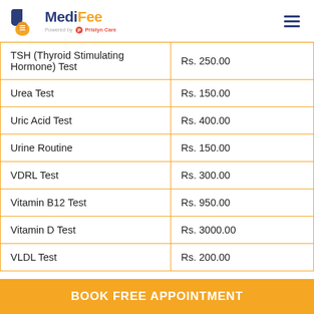MediFee - Powered by Pristyn Care
| Test Name | Price |
| --- | --- |
| TSH (Thyroid Stimulating Hormone) Test | Rs. 250.00 |
| Urea Test | Rs. 150.00 |
| Uric Acid Test | Rs. 400.00 |
| Urine Routine | Rs. 150.00 |
| VDRL Test | Rs. 300.00 |
| Vitamin B12 Test | Rs. 950.00 |
| Vitamin D Test | Rs. 3000.00 |
| VLDL Test | Rs. 200.00 |
BOOK FREE APPOINTMENT